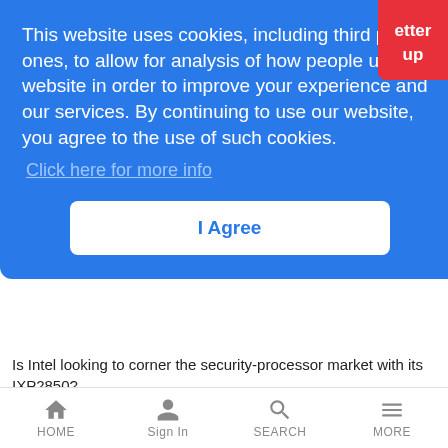[Figure (screenshot): Red partially visible button in top right corner with text 'etter' and 'up' visible]
This website uses cookies, including third party ones, to allow for analysis of how people use our website in order to improve your experience and our services. By continuing to use our website, you agree to the use of such cookies. Click here for more info
I Agree
Is Intel looking to corner the security-processor market with its IXP2850?
Vodafone Lays One Hand on SFR
LR Mobile News Analysis | 10/16/2002
Has it finally captured prized French asset SFR? Potential deal worth up to €13B, but Vivendi could intervene
HOME   Sign In   SEARCH   MORE